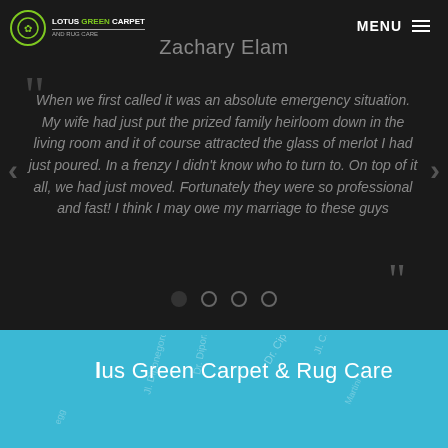[Figure (logo): Lotus Green Carpet and Rug Care logo with circular icon on dark background]
MENU
Zachary Elam
When we first called it was an absolute emergency situation. My wife had just put the prized family heirloom down in the living room and it of course attracted the glass of merlot I had just poured. In a frenzy I didn't know who to turn to. On top of it all, we had just moved. Fortunately they were so professional and fast! I think I may owe my marriage to these guys
[Figure (screenshot): Navigation dots indicator showing 4 dots with first filled]
[Figure (map): Teal background map section with street names visible as watermark]
Lotus Green Carpet & Rug Care